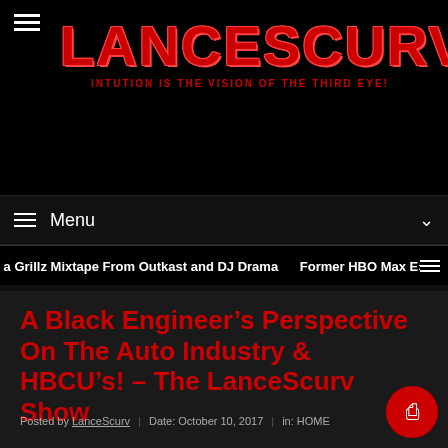LANCESCURV — INTUITION IS THE VISION OF THE THIRD EYE!
Menu
a Grillz Mixtape From Outkast and DJ Drama  |  Former HBO Max E›
A Black Engineer's Perspective On The Auto Industry & HBCU's! – The LanceScurv Show
Posted by LanceScurv  |  Date: October 10, 2017  |  in: HOME  |  Leave a comment  242 Views